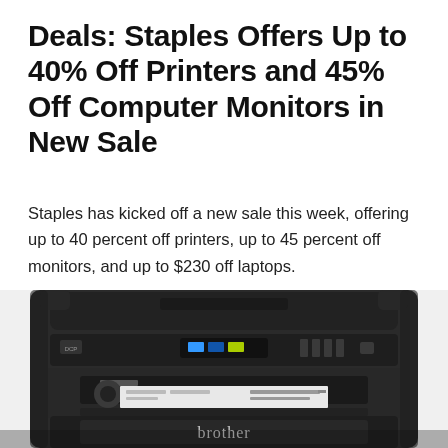Deals: Staples Offers Up to 40% Off Printers and 45% Off Computer Monitors in New Sale
Staples has kicked off a new sale this week, offering up to 40 percent off printers, up to 45 percent off monitors, and up to $230 off laptops.
[Figure (photo): Close-up photo of a black Brother multifunction laser printer with paper loaded in the front tray and the Brother logo visible on the front panel.]